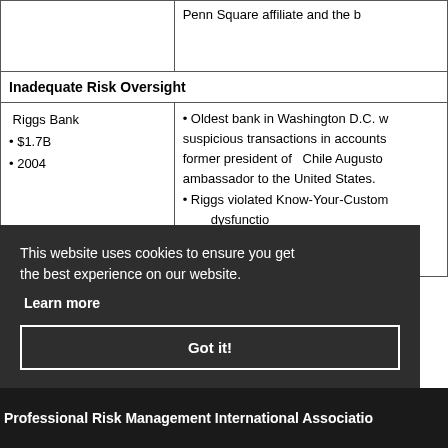|  |  |
| --- | --- |
|  | Penn Square affiliate and the b... |
| Inadequate Risk Oversight |  |
| Riggs Bank
• $1.7B
• 2004 | • Oldest bank in Washington D.C. w... suspicious transactions in accounts... former president of Chile Augusto... ambassador to the United States.
• Riggs violated Know-Your-Custom... dysfunction... and all... |
This website uses cookies to ensure you get the best experience on our website. Learn more  Got it!
Professional Risk Management International Association